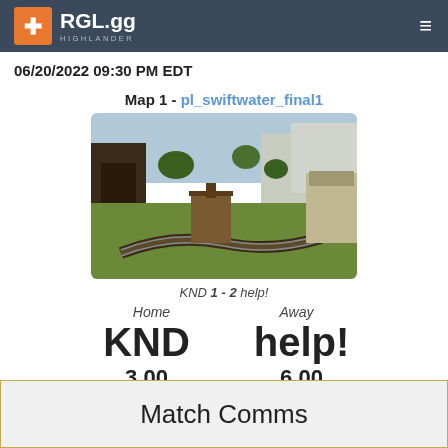RGL.gg HIGHLANDER
06/20/2022 09:30 PM EDT
Map 1 - pl_swiftwater_final1
[Figure (photo): Screenshot of pl_swiftwater_final1 TF2 map showing a payload track through a wooden industrial area with green hills in background]
KND 1 - 2 help!
Home    Away
KND   help!
3.00    6.00
Match Comms